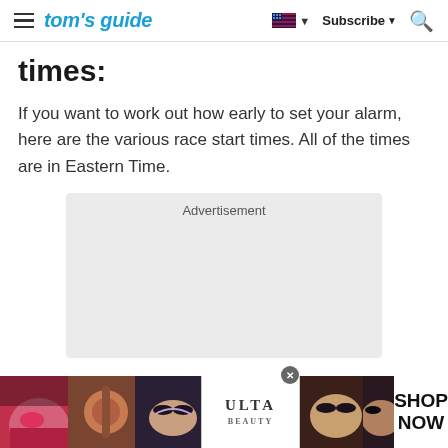tom's guide | Subscribe
times:
If you want to work out how early to set your alarm, here are the various race start times. All of the times are in Eastern Time.
[Figure (other): Advertisement placeholder box with gray background]
[Figure (other): Bottom banner advertisement for Ulta Beauty featuring makeup/cosmetic images with SHOP NOW call to action]